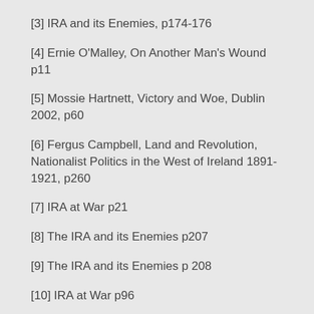[3] IRA and its Enemies, p174-176
[4] Ernie O'Malley, On Another Man's Wound p11
[5] Mossie Hartnett, Victory and Woe, Dublin 2002, p60
[6] Fergus Campbell, Land and Revolution, Nationalist Politics in the West of Ireland 1891-1921, p260
[7] IRA at War p21
[8] The IRA and its Enemies p207
[9] The IRA and its Enemies p 208
[10] IRA at War p96
[11] IRA at War p84
[12] IRA at War p195